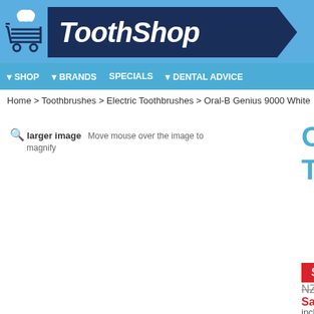[Figure (logo): ToothShop logo with shopping cart icon on blue background, ToothShop text on dark navy background]
▾ SHOP  ▾ BRANDS  SPECIALS  ▾ DENTAL ADVICE
Home > Toothbrushes > Electric Toothbrushes > Oral-B Genius 9000 White
🔍 larger image  Move mouse over the image to magnify
Oral-B Genius 9000 White Electric Toothbrush
Special Offer
NZ $399.99  NZ $... Save NZ $140.99 incl GST
Qty  1